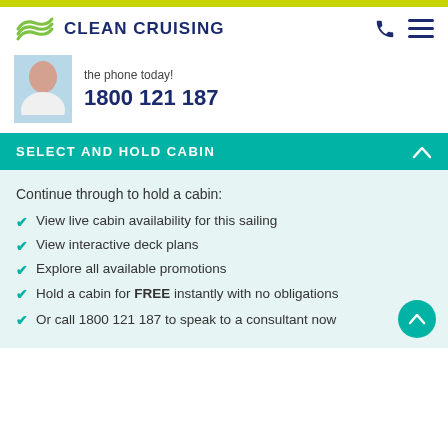CLEAN CRUISING
the phone today!
1800 121 187
SELECT AND HOLD CABIN
Continue through to hold a cabin:
View live cabin availability for this sailing
View interactive deck plans
Explore all available promotions
Hold a cabin for FREE instantly with no obligations
Or call 1800 121 187 to speak to a consultant now